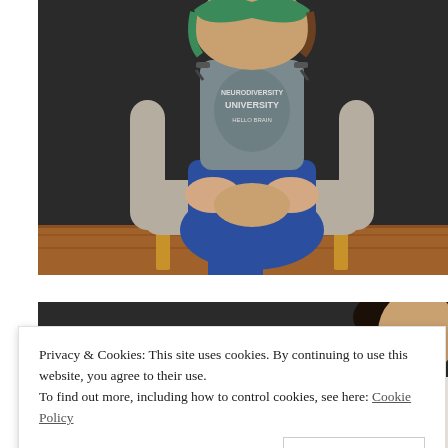[Figure (photo): A woman with colorful hair wearing a gray university t-shirt and blue pants, sitting in a light gray chair against a dark wall, hands clasped over her knees. Hardwood floor visible below.]
[Figure (photo): A second photo partially visible: a person with dark hair against a dark background, cropped at top and bottom.]
Privacy & Cookies: This site uses cookies. By continuing to use this website, you agree to their use.
To find out more, including how to control cookies, see here: Cookie Policy
Close and accept